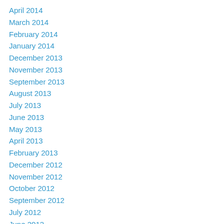April 2014
March 2014
February 2014
January 2014
December 2013
November 2013
September 2013
August 2013
July 2013
June 2013
May 2013
April 2013
February 2013
December 2012
November 2012
October 2012
September 2012
July 2012
June 2012
May 2012